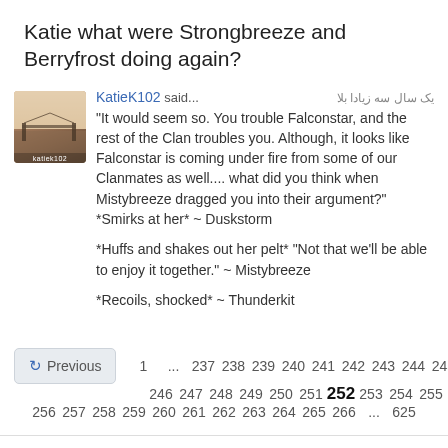Katie what were Strongbreeze and Berryfrost doing again?
KatieK102 said... یک سال سه زیادا بلا
"It would seem so. You trouble Falconstar, and the rest of the Clan troubles you. Although, it looks like Falconstar is coming under fire from some of our Clanmates as well.... what did you think when Mistybreeze dragged you into their argument?" *Smirks at her* ~ Duskstorm

*Huffs and shakes out her pelt* "Not that we'll be able to enjoy it together." ~ Mistybreeze

*Recoils, shocked* ~ Thunderkit
Previous  1 ... 237 238 239 240 241 242 243 244 245 246 247 248 249 250 251 252 253 254 255 256 257 258 259 260 261 262 263 264 265 266 ... 625